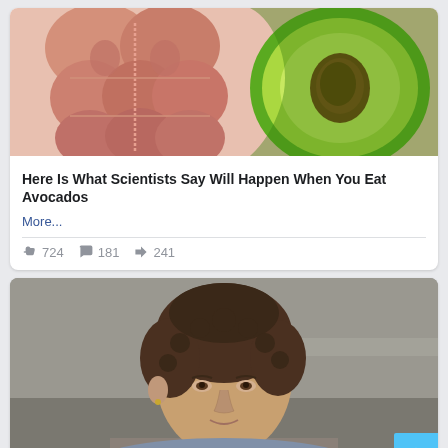[Figure (photo): Anatomical illustration of abdominal muscles next to a halved avocado]
Here Is What Scientists Say Will Happen When You Eat Avocados
More...
724  181  241
[Figure (photo): Portrait of a woman with short curly brown hair wearing a grey top, looking at the camera]